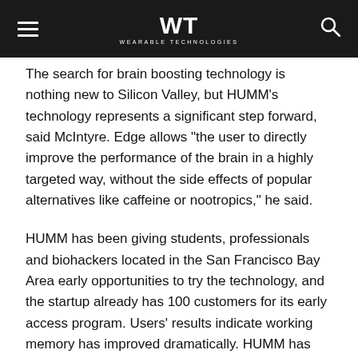WT WEARABLE TECHNOLOGIES
The search for brain boosting technology is nothing new to Silicon Valley, but HUMM’s technology represents a significant step forward, said McIntyre. Edge allows “the user to directly improve the performance of the brain in a highly targeted way, without the side effects of popular alternatives like caffeine or nootropics,” he said.
HUMM has been giving students, professionals and biohackers located in the San Francisco Bay Area early opportunities to try the technology, and the startup already has 100 customers for its early access program. Users’ results indicate working memory has improved dramatically. HUMM has conducted its own clinical trial at a prestigious Australian university and is also commissioning further third